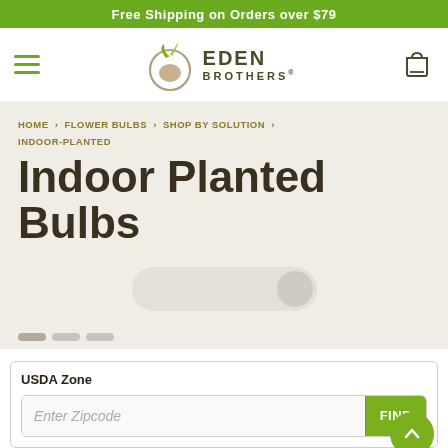Free Shipping on Orders over $79
[Figure (logo): Eden Brothers logo with seedling icon, hamburger menu icon on left, shopping bag icon on right]
HOME > FLOWER BULBS > SHOP BY SOLUTION > INDOOR-PLANTED
Indoor Planted Bulbs
USDA Zone
Enter Zipcode  FIND